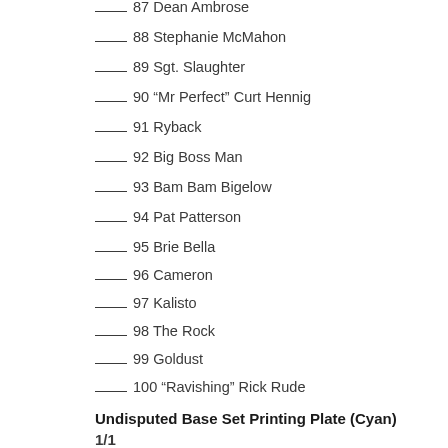____ 87 Dean Ambrose
____ 88 Stephanie McMahon
____ 89 Sgt. Slaughter
____ 90 “Mr Perfect” Curt Hennig
____ 91 Ryback
____ 92 Big Boss Man
____ 93 Bam Bam Bigelow
____ 94 Pat Patterson
____ 95 Brie Bella
____ 96 Cameron
____ 97 Kalisto
____ 98 The Rock
____ 99 Goldust
____ 100 “Ravishing” Rick Rude
Undisputed Base Set Printing Plate (Cyan)
1/1